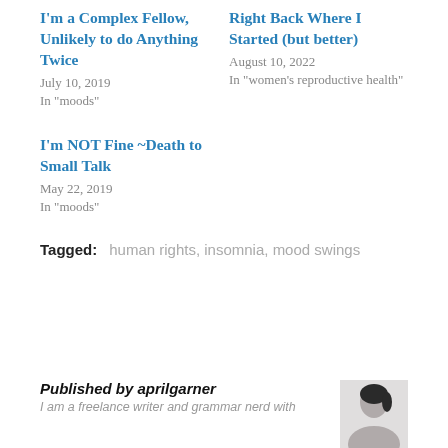I'm a Complex Fellow, Unlikely to do Anything Twice
July 10, 2019
In "moods"
Right Back Where I Started (but better)
August 10, 2022
In "women's reproductive health"
I'm NOT Fine ~Death to Small Talk
May 22, 2019
In "moods"
Tagged:  human rights,  insomnia,  mood swings
Published by aprilgarner
I am a freelance writer and grammar nerd with